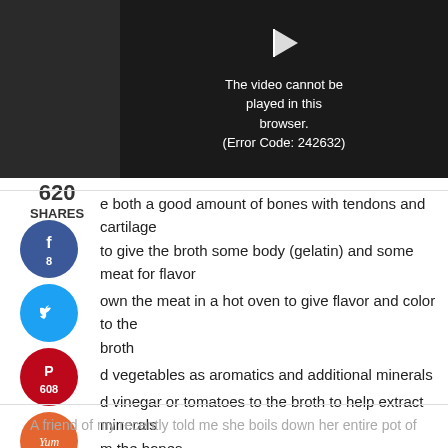[Figure (screenshot): Video player showing error message: The video cannot be played in this browser. (Error Code: 242632)]
620
SHARES
…e both a good amount of bones with tendons and cartilage to give the broth some body (gelatin) and some meat for flavor
…own the meat in a hot oven to give flavor and color to the broth
…d vegetables as aromatics and additional minerals
…d vinegar or tomatoes to the broth to help extract minerals from the bones
…ook the broth at a simmer for at least 12 hours to extract as much flavor and gelatin from the meat and bones
6. Skim off any scum that comes to the surface of the broth
A friend of my recently told me she boils down her entire pot of